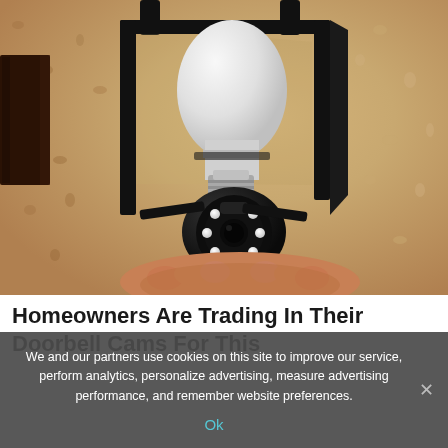[Figure (photo): Close-up photo of a security camera shaped like a light bulb installed inside a black metal outdoor lantern fixture mounted on a stucco wall. A hand is holding the camera device from below.]
Homeowners Are Trading In Their Doorbell Cams For This
We and our partners use cookies on this site to improve our service, perform analytics, personalize advertising, measure advertising performance, and remember website preferences.
Ok